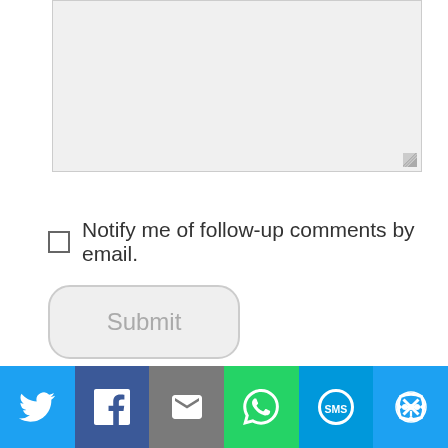[Figure (other): Textarea input box with resize handle, light gray background]
Notify me of follow-up comments by email.
[Figure (other): Submit button with rounded corners, gray background, gray text]
bike rides in Orlando
I found your blog because I wanted more information on bicycles. I run a bicycle blog
[Figure (infographic): Social sharing bar with Twitter, Facebook, Email, WhatsApp, SMS, and More buttons]